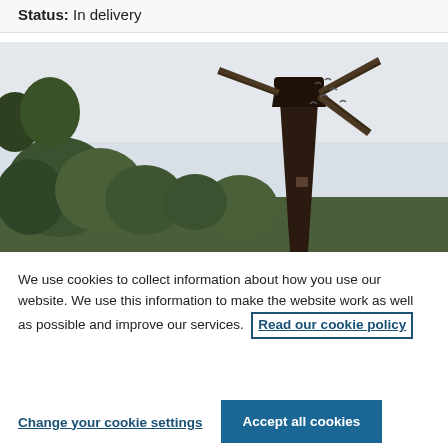Status: In delivery
[Figure (photo): Outdoor photo of a dark brown windmill tower surrounded by green trees under an overcast sky with birds flying in the background.]
We use cookies to collect information about how you use our website. We use this information to make the website work as well as possible and improve our services. Read our cookie policy
Change your cookie settings
Accept all cookies